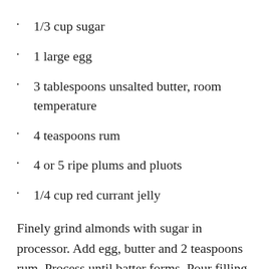1/3 cup sugar
1 large egg
3 tablespoons unsalted butter, room temperature
4 teaspoons rum
4 or 5 ripe plums and pluots
1/4 cup red currant jelly
Finely grind almonds with sugar in processor. Add egg, butter and 2 teaspoons rum. Process until batter forms. Pour filling into crust. Arrange plums and pluots atop filling. Bake until fruit is